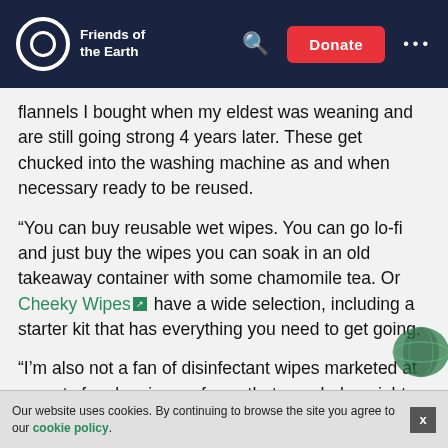Friends of the Earth — navigation bar with Donate button
flannels I bought when my eldest was weaning and are still going strong 4 years later. These get chucked into the washing machine as and when necessary ready to be reused.
“You can buy reusable wet wipes. You can go lo-fi and just buy the wipes you can soak in an old takeaway container with some chamomile tea. Or Cheeky Wipes have a wide selection, including a starter kit that has everything you need to get going.
“I’m also not a fan of disinfectant wipes marketed at parents for cleaning surfaces that your baby might touch. A few germs are good for your baby and help build their immune system. I would much rather they be in the product. And it’s interesting that a bit of be a
Our website uses cookies. By continuing to browse the site you agree to our cookie policy.